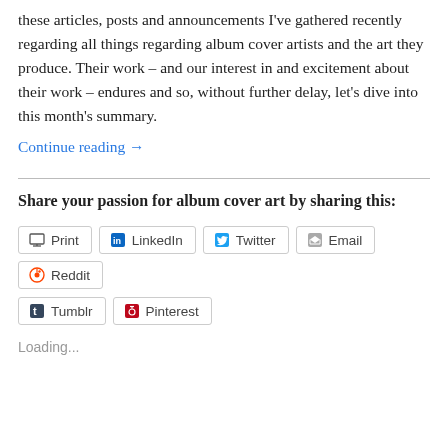these articles, posts and announcements I've gathered recently regarding all things regarding album cover artists and the art they produce. Their work – and our interest in and excitement about their work – endures and so, without further delay, let's dive into this month's summary.
Continue reading →
Share your passion for album cover art by sharing this:
Print
LinkedIn
Twitter
Email
Reddit
Tumblr
Pinterest
Loading...